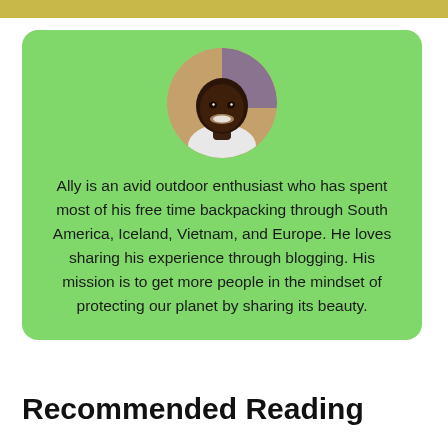[Figure (photo): Circular avatar photo of a smiling young Black man wearing a white shirt, against a warm indoor background.]
Ally is an avid outdoor enthusiast who has spent most of his free time backpacking through South America, Iceland, Vietnam, and Europe. He loves sharing his experience through blogging. His mission is to get more people in the mindset of protecting our planet by sharing its beauty.
Recommended Reading